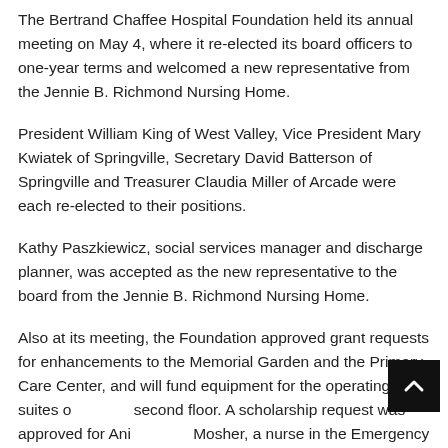The Bertrand Chaffee Hospital Foundation held its annual meeting on May 4, where it re-elected its board officers to one-year terms and welcomed a new representative from the Jennie B. Richmond Nursing Home.
President William King of West Valley, Vice President Mary Kwiatek of Springville, Secretary David Batterson of Springville and Treasurer Claudia Miller of Arcade were each re-elected to their positions.
Kathy Paszkiewicz, social services manager and discharge planner, was accepted as the new representative to the board from the Jennie B. Richmond Nursing Home.
Also at its meeting, the Foundation approved grant requests for enhancements to the Memorial Garden and the Primary Care Center, and will fund equipment for the operating suites on the second floor. A scholarship request was approved for Ani Mosher, a nurse in the Emergency Department, as she continues